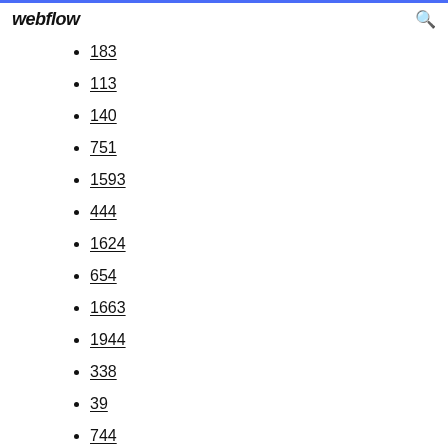webflow
183
113
140
751
1593
444
1624
654
1663
1944
338
39
744